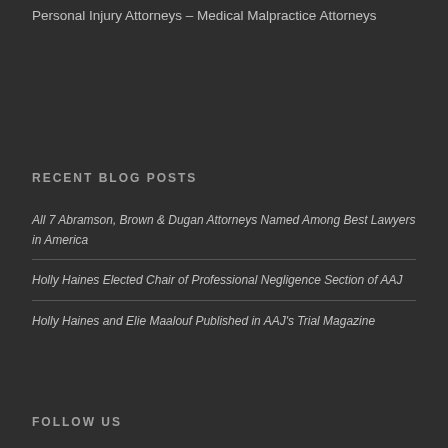Personal Injury Attorneys – Medical Malpractice Attorneys
RECENT BLOG POSTS
All 7 Abramson, Brown & Dugan Attorneys Named Among Best Lawyers in America
Holly Haines Elected Chair of Professional Negligence Section of AAJ
Holly Haines and Elie Maalouf Published in AAJ's Trial Magazine
FOLLOW US